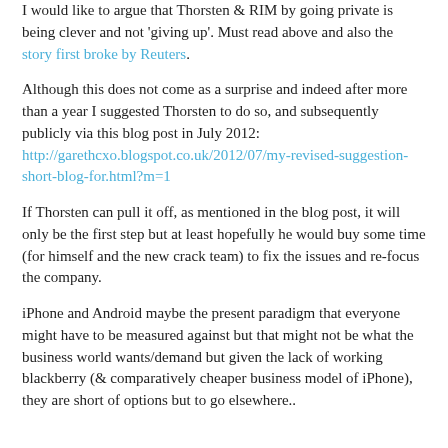I would like to argue that Thorsten & RIM by going private is being clever and not 'giving up'. Must read above and also the story first broke by Reuters.
Although this does not come as a surprise and indeed after more than a year I suggested Thorsten to do so, and subsequently publicly via this blog post in July 2012: http://garethcxo.blogspot.co.uk/2012/07/my-revised-suggestion-short-blog-for.html?m=1
If Thorsten can pull it off, as mentioned in the blog post, it will only be the first step but at least hopefully he would buy some time (for himself and the new crack team) to fix the issues and re-focus the company.
iPhone and Android maybe the present paradigm that everyone might have to be measured against but that might not be what the business world wants/demand but given the lack of working blackberry (& comparatively cheaper business model of iPhone), they are short of options but to go elsewhere..